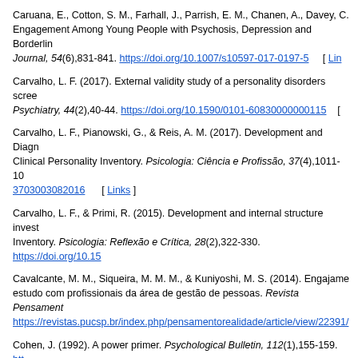Caruana, E., Cotton, S. M., Farhall, J., Parrish, E. M., Chanen, A., Davey, C. Engagement Among Young People with Psychosis, Depression and Borderline Journal, 54(6),831-841. https://doi.org/10.1007/s10597-017-0197-5 [ Links ]
Carvalho, L. F. (2017). External validity study of a personality disorders screen Psychiatry, 44(2),40-44. https://doi.org/10.1590/01830000000115 [ Links ]
Carvalho, L. F., Pianowski, G., & Reis, A. M. (2017). Development and Diagnosis Clinical Personality Inventory. Psicologia: Ciência e Profissão, 37(4),1011-10 https://doi.org/10.1590/1982-37030003082016 [ Links ]
Carvalho, L. F., & Primi, R. (2015). Development and internal structure investigation Inventory. Psicologia: Reflexão e Crítica, 28(2),322-330. https://doi.org/10.15
Cavalcante, M. M., Siqueira, M. M. M., & Kuniyoshi, M. S. (2014). Engajamento estudo com profissionais da área de gestão de pessoas. Revista Pensamento https://revistas.pucsp.br/index.php/pensamentorealidade/article/view/22391/
Cohen, J. (1992). A power primer. Psychological Bulletin, 112(1),155-159. http
Couto, R. P., & Paschoal, T. (2017). Relação entre ações de qualidade de vida Argumento, 30(70),585-593. Retrieved from https://periodicos.pucpr.br/index.php/psicologiaargumento/article/view/20563
Dalanhol, N. S., Freitas, C. P. P., Machado, W. L., Hutz, C. S., & Vazquez, A. e personalidade em oficiais de justiça. Psico, 48(2),109-119. https://doi.org/1
Darren, G., & Mallery, P. (1999). SPSS for Windows-step by step: a simple guide Bacon. [ Links ]